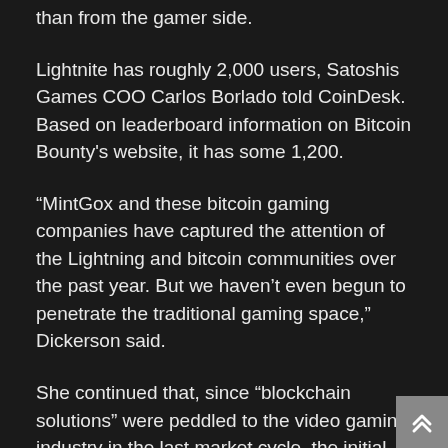than from the gamer side.
Lightnite has roughly 2,000 users, Satoshis Games COO Carlos Borlado told CoinDesk. Based on leaderboard information on Bitcoin Bounty's website, it has some 1,200.
“MintGox and these bitcoin gaming companies have captured the attention of the Lightning and bitcoin communities over the past year. But we haven't even begun to penetrate the traditional gaming space,” Dickerson said.
She continued that, since “blockchain solutions” were peddled to the video gaming industry in the last market cycle, the initial coin offering (ICO) bubble popped a lot of the video game industry’s enthusiasm for cryptocurrency integrations.